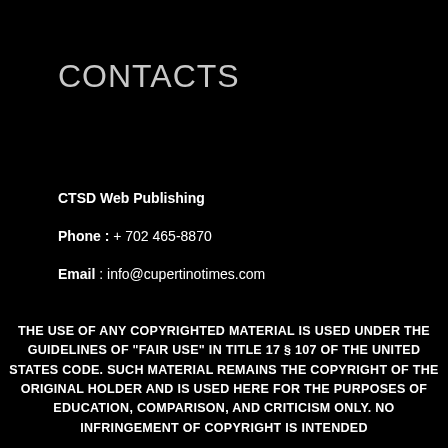CONTACTS
CTSD Web Publishing
Phone : + 702 465-8870
Email : info@cupertinotimes.com
[Figure (other): Social media icons: Facebook (blue circle) and Twitter (blue bird)]
THE USE OF ANY COPYRIGHTED MATERIAL IS USED UNDER THE GUIDELINES OF "FAIR USE" IN TITLE 17 § 107 OF THE UNITED STATES CODE. SUCH MATERIAL REMAINS THE COPYRIGHT OF THE ORIGINAL HOLDER AND IS USED HERE FOR THE PURPOSES OF EDUCATION, COMPARISON, AND CRITICISM ONLY. NO INFRINGEMENT OF COPYRIGHT IS INTENDED